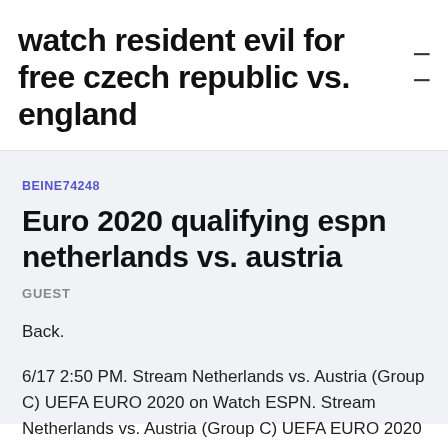watch resident evil for free czech republic vs. england
BEINE74248
Euro 2020 qualifying espn netherlands vs. austria
GUEST
Back.
6/17 2:50 PM. Stream Netherlands vs. Austria (Group C) UEFA EURO 2020 on Watch ESPN. Stream Netherlands vs. Austria (Group C) UEFA EURO 2020 on Watch